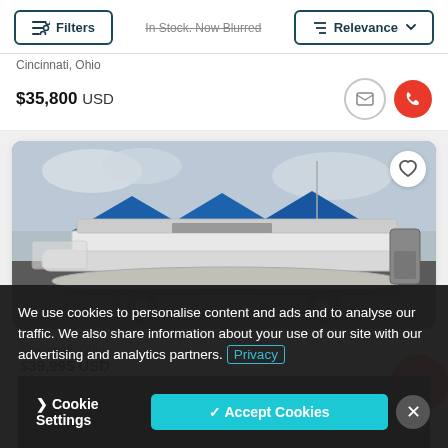[Figure (screenshot): UI top bar with Filters button and Relevance sort dropdown]
In Stock. Now Blurred
Cincinnati, Ohio
$35,800 USD
[Figure (photo): Pontoon boat on a trailer photographed in a boat dealer lot with blue tent canopies in the background]
We use cookies to personalise content and ads and to analyse our traffic. We also share information about your use of our site with our advertising and analytics partners. Privacy
Cookie Settings
Accept Cookies
Cincinnati, Ohio
$39,995 USD